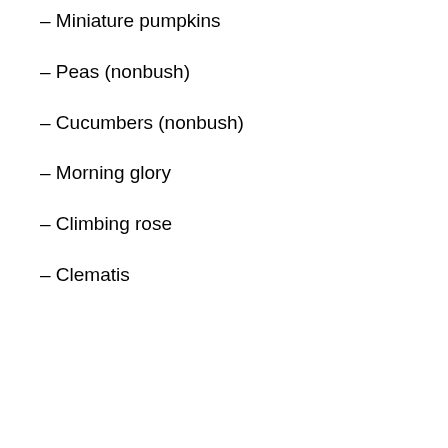– Miniature pumpkins
– Peas (nonbush)
– Cucumbers (nonbush)
– Morning glory
– Climbing rose
– Clematis